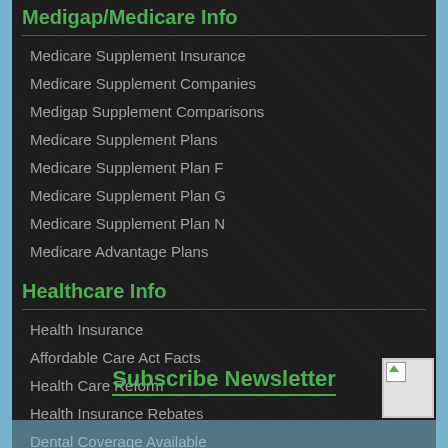Medigap/Medicare Info
Medicare Supplement Insurance
Medicare Supplement Companies
Medigap Supplement Comparisons
Medicare Supplement Plans
Medicare Supplement Plan F
Medicare Supplement Plan G
Medicare Supplement Plan N
Medicare Advantage Plans
Healthcare Info
Health Insurance
Affordable Care Act Facts
Health Care Reform
Health Insurance Rebates
Dental Coverage Available
Subscribe Newsletter
[Figure (illustration): Small image placeholder icon in bottom right corner]